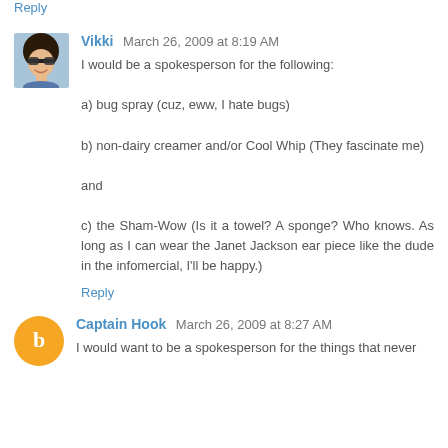Reply
Vikki   March 26, 2009 at 8:19 AM
I would be a spokesperson for the following:

a) bug spray (cuz, eww, I hate bugs)

b) non-dairy creamer and/or Cool Whip (They fascinate me)

and

c) the Sham-Wow (Is it a towel? A sponge? Who knows. As long as I can wear the Janet Jackson ear piece like the dude in the infomercial, I'll be happy.)
Reply
Captain Hook   March 26, 2009 at 8:27 AM
I would want to be a spokesperson for the things that never